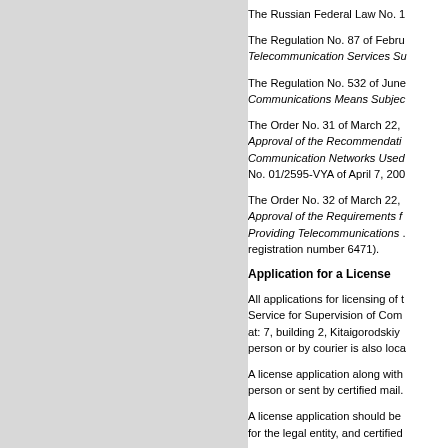The Russian Federal Law No. 1...
The Regulation No. 87 of Febru... Telecommunication Services Su...
The Regulation No. 532 of June... Communications Means Subjec...
The Order No. 31 of March 22, ... Approval of the Recommendati... Communication Networks Used... No. 01/2595-VYA of April 7, 200...
The Order No. 32 of March 22, ... Approval of the Requirements f... Providing Telecommunications ... registration number 6471).
Application for a License
All applications for licensing of t... Service for Supervision of Com... at: 7, building 2, Kitaigorodskiy ... person or by courier is also loca...
A license application along with... person or sent by certified mail.
A license application should be... for the legal entity, and certified...
If a license application is signed... application should be accompan...